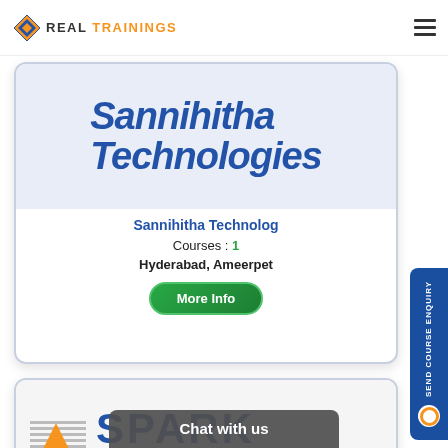REAL TRAININGS
[Figure (logo): Sannihitha Technologies logo with bold italic blue text]
Sannihitha Technolog
Courses : 1
Hyderabad, Ameerpet
More Info
[Figure (logo): Spark Trainings logo with icon, SPARK in blue and TRAININGS in orange]
Spark Trainings
Chat with us